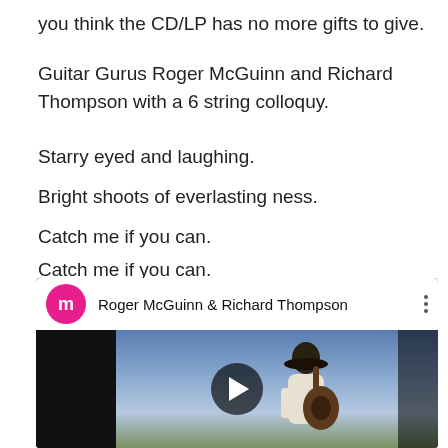you think the CD/LP has no more gifts to give.
Guitar Gurus Roger McGuinn and Richard Thompson with a 6 string colloquy.
Starry eyed and laughing.
Bright shoots of everlasting ness.
Catch me if you can.
Catch me if you can.
[Figure (screenshot): Embedded YouTube-style video player showing Roger McGuinn & Richard Thompson. Header shows pink avatar with letter 'm', channel name 'Roger McGuinn & Richard Thompson', three-dot menu. Video thumbnail shows a guitarist in a hat playing guitar outdoors against a sky, with a play button overlay.]